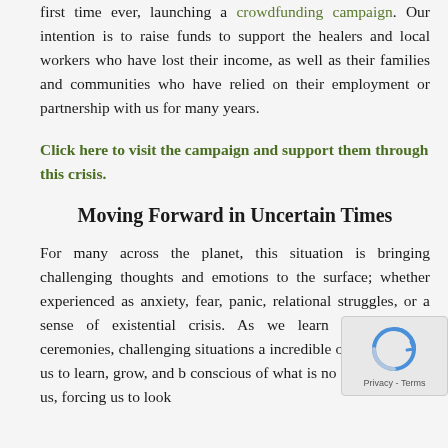first time ever, launching a crowdfunding campaign. Our intention is to raise funds to support the healers and local workers who have lost their income, as well as their families and communities who have relied on their employment or partnership with us for many years.
Click here to visit the campaign and support them through this crisis.
Moving Forward in Uncertain Times
For many across the planet, this situation is bringing challenging thoughts and emotions to the surface; whether experienced as anxiety, fear, panic, relational struggles, or a sense of existential crisis. As we learn in ayahuasca ceremonies, challenging situations a incredible opportunity for us to learn, grow, and b conscious of what is no longer serving us, forcing us to look